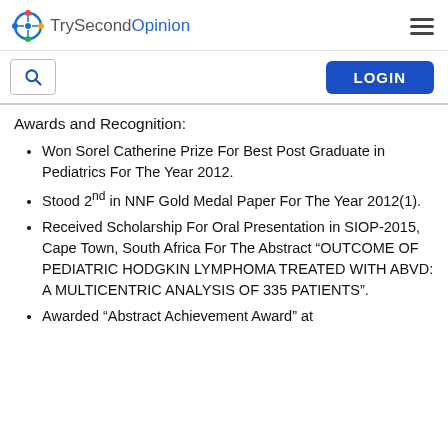TrySecondOpinion
Awards and Recognition:
Won Sorel Catherine Prize For Best Post Graduate in Pediatrics For The Year 2012.
Stood 2nd in NNF Gold Medal Paper For The Year 2012(1).
Received Scholarship For Oral Presentation in SIOP-2015, Cape Town, South Africa For The Abstract “OUTCOME OF PEDIATRIC HODGKIN LYMPHOMA TREATED WITH ABVD: A MULTICENTRIC ANALYSIS OF 335 PATIENTS”.
Awarded “Abstract Achievement Award” at